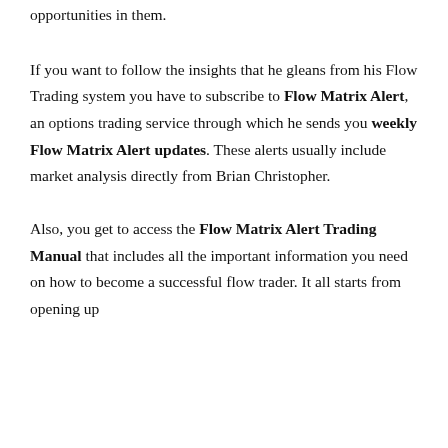opportunities in them.
If you want to follow the insights that he gleans from his Flow Trading system you have to subscribe to Flow Matrix Alert, an options trading service through which he sends you weekly Flow Matrix Alert updates. These alerts usually include market analysis directly from Brian Christopher.
Also, you get to access the Flow Matrix Alert Trading Manual that includes all the important information you need on how to become a successful flow trader. It all starts from opening up